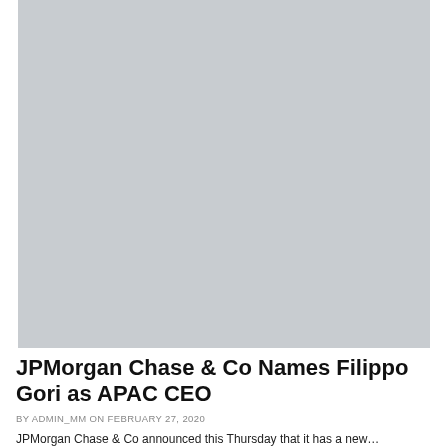[Figure (photo): Large placeholder image, gray background, appears to be a photograph (content not visible)]
JPMorgan Chase & Co Names Filippo Gori as APAC CEO
BY ADMIN_MM ON FEBRUARY 27, 2020
JPMorgan Chase & Co announced this Thursday that it has a new…